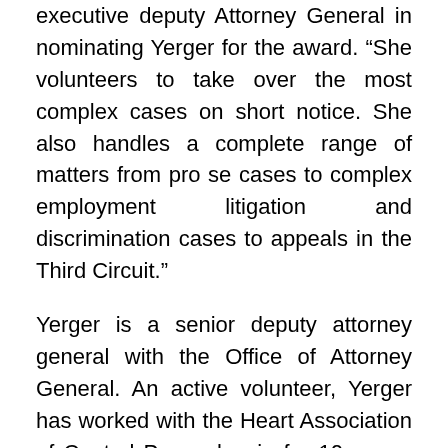executive deputy Attorney General in nominating Yerger for the award. “She volunteers to take over the most complex cases on short notice. She also handles a complete range of matters from pro se cases to complex employment litigation and discrimination cases to appeals in the Third Circuit.”
Yerger is a senior deputy attorney general with the Office of Attorney General. An active volunteer, Yerger has worked with the Heart Association of Central Pennsylvania for 10 years. She has served on its board for six years and currently serves as the president. Yerger has orchestrated a Christmas gift program for needy children for four years